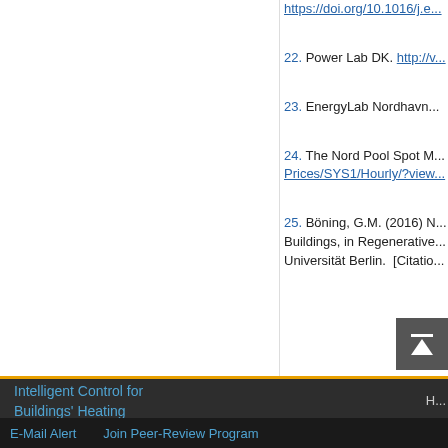https://doi.org/10.1016/j.e...
22. Power Lab DK. http://v...
23. EnergyLab Nordhavn...
24. The Nord Pool Spot M... Prices/SYS1/Hourly/?view...
25. Böning, G.M. (2016) M... Buildings, in Regenerative... Universität Berlin. [Citatio...
Top
ABSTRACT
Introduction
Flexibility and District Heating Systems
Intelligent Control for Buildings' Heating
E-Mail Alert   Join Peer-Review Program